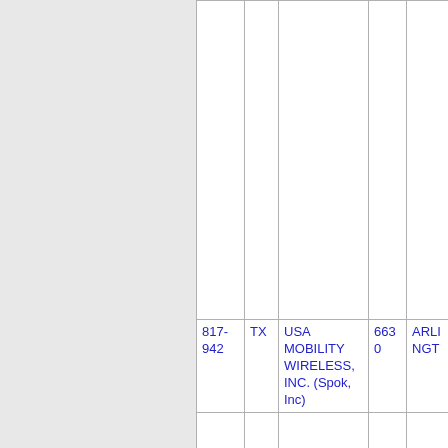| Number | State | Company | Zip | City |
| --- | --- | --- | --- | --- |
| 817-942 | TX | USA MOBILITY WIRELESS, INC. (Spok, Inc) | 6630 | ARLINGTON |
| 817-943 | TX | USA MOBILITY WIRELESS, | 6630 | ARLINGTON |